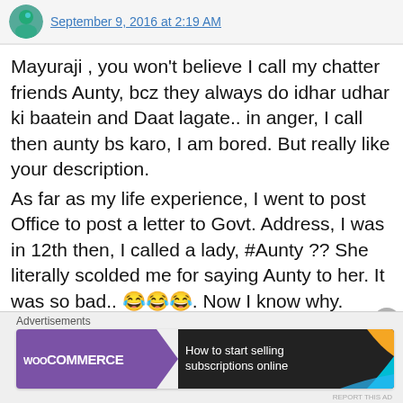September 9, 2016 at 2:19 AM
Mayuraji , you won't believe I call my chatter friends Aunty, bcz they always do idhar udhar ki baatein and Daat lagate.. in anger, I call then aunty bs karo, I am bored. But really like your description.
As far as my life experience, I went to post Office to post a letter to Govt. Address, I was in 12th then, I called a lady, #Aunty ?? She literally scolded me for saying Aunty to her. It was so bad.. 😂😂😂. Now I know why.
[Figure (illustration): WooCommerce advertisement banner: How to start selling subscriptions online]
Advertisements